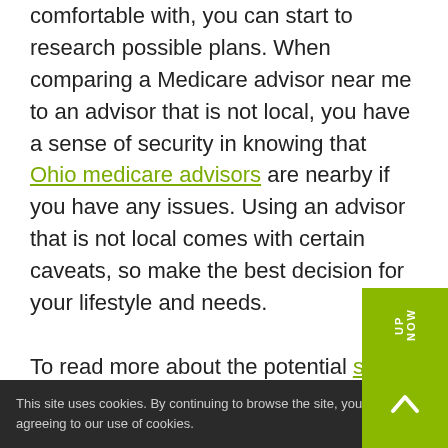comfortable with, you can start to research possible plans. When comparing a Medicare advisor near me to an advisor that is not local, you have a sense of security in knowing that Ohio medicare advisors are nearby if you have any issues. Using an advisor that is not local comes with certain caveats, so make the best decision for your lifestyle and needs.

To read more about the potential senior advantage of medicare check out this
This site uses cookies. By continuing to browse the site, you are agreeing to our use of cookies.